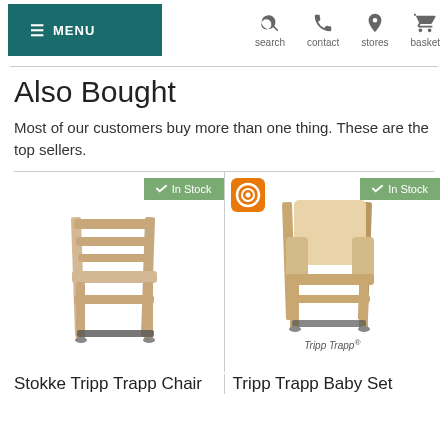☰ MENU | search | contact | stores | basket
Also Bought
Most of our customers buy more than one thing. These are the top sellers.
[Figure (photo): Product photo of Stokke Tripp Trapp Chair in natural wood finish with 'In Stock' badge]
[Figure (photo): Product photo of Tripp Trapp Baby Set in natural finish with Stokke logo and 'In Stock' badge, labeled 'Tripp Trapp®']
Stokke Tripp Trapp Chair
Tripp Trapp Baby Set